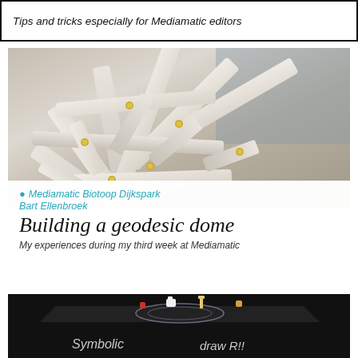Tips and tricks especially for Mediamatic editors
[Figure (photo): Close-up photograph of a white geodesic dome structure with interconnected flat plastic or cardboard strips forming triangular and polygonal panels, with gold/brass colored metal bolts at the joints. Light colored background.]
Mediamatic Biotoop Dijkspark
Bart Ellenbroek
Building a geodesic dome
My experiences during my third week at Mediamatic
[Figure (photo): A black table or installation with small plastic animal figurines (giraffe, horse, cat/dog, rooster, and others) arranged on top. The surface has a circular diagram drawn in chalk or painted. The sides of the table have 'Symbolic' and 'draw R!!' written in chalk-style lettering.]